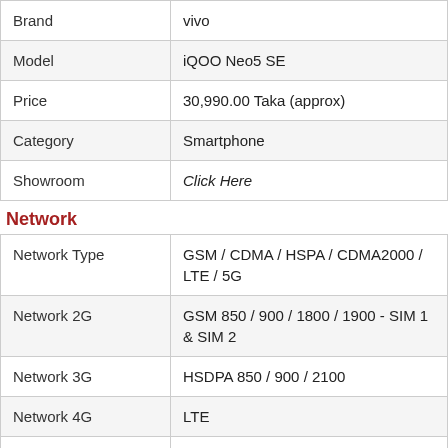|  |  |
| --- | --- |
| Brand | vivo |
| Model | iQOO Neo5 SE |
| Price | 30,990.00 Taka (approx) |
| Category | Smartphone |
| Showroom | Click Here |
Network
|  |  |
| --- | --- |
| Network Type | GSM / CDMA / HSPA / CDMA2000 / LTE / 5G |
| Network 2G | GSM 850 / 900 / 1800 / 1900 - SIM 1 & SIM 2 |
| Network 3G | HSDPA 850 / 900 / 2100 |
| Network 4G | LTE |
| Network 5G | SA/NSA |
| Speed | HSPA, LTE-A, 5G |
| GPRS | Yes |
| EDGE | Yes |